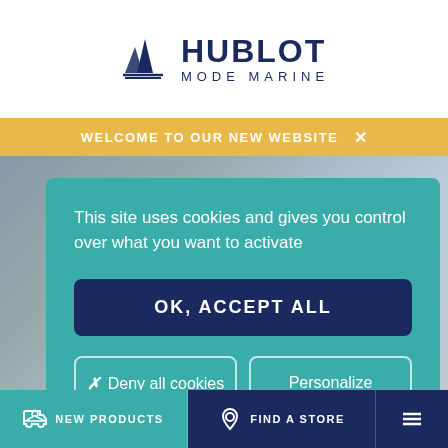[Figure (logo): Hublot Mode Marine logo with sailboat icon and brand name]
WELCOME TO OUR NEW WEBSITE  ×
[Figure (photo): Background photo of people wearing marine clothing]
This site uses cookies and gives you control over what you want to activate
OK, ACCEPT ALL
✗  Deny all cookies
Personalize
NEW PRODUCTS
FIND A STORE